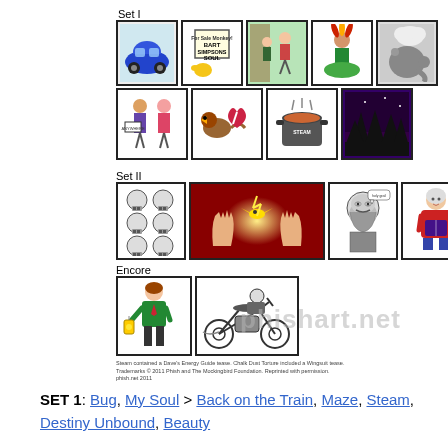Set I
[Figure (illustration): Row 1 of Set I: 5 cartoon illustration panels - blue VW bug car, Bart Simpson's Soul sign with Bart, person being mugged, Native American figure, elephant with steam]
[Figure (illustration): Row 2 of Set I: 4 cartoon illustration panels - hitchhikers with signs, bird with broken heart, cauldron/pot, dark forest night scene]
Set II
[Figure (illustration): Set II panels: 6 skulls grid, two hands with lightning bird (wide panel), bearded man with speech bubble, woman in red coat reading]
Encore
[Figure (illustration): Encore panels: man in green suit holding lantern, motorcycle rider sketch]
[Figure (illustration): phishart.net watermark]
Steam contained a Dave's Energy Guide tease. Chalk Dust Torture included a Wingsuit tease.
Trademarks © 2011 Phish and The Mockingbird Foundation. Reprinted with permission.
phish.net 2011
SET 1: Bug, My Soul > Back on the Train, Maze, Steam, Destiny Unbound, Beauty